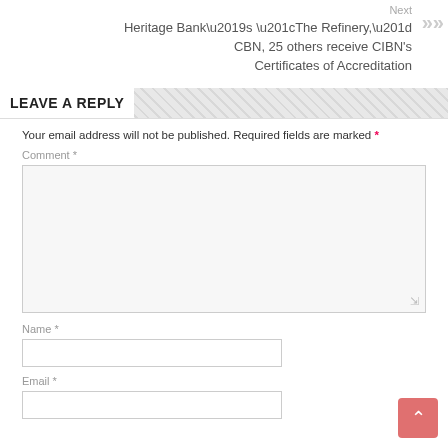Next
Heritage Bank’s “The Refinery,” CBN, 25 others receive CIBN’s Certificates of Accreditation
LEAVE A REPLY
Your email address will not be published. Required fields are marked *
Comment *
Name *
Email *